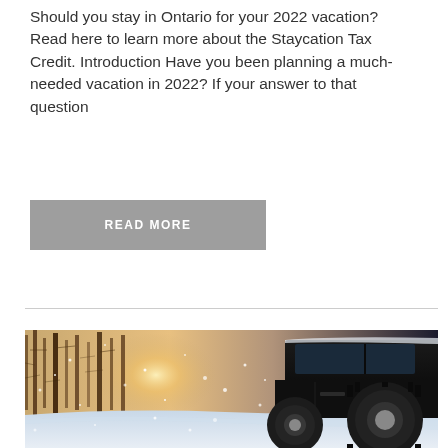Should you stay in Ontario for your 2022 vacation? Read here to learn more about the Staycation Tax Credit. Introduction Have you been planning a much-needed vacation in 2022? If your answer to that question
READ MORE
[Figure (photo): A vehicle with large snow-covered tires in a snowy winter forest scene with sunlight and falling snowflakes]